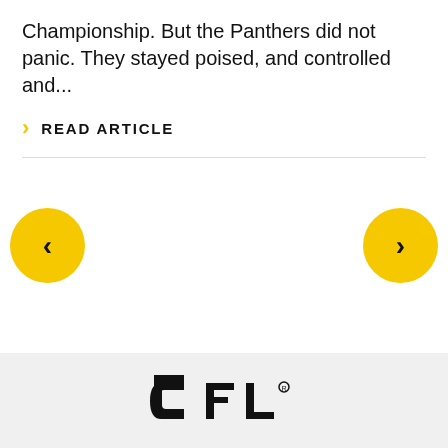Championship. But the Panthers did not panic. They stayed poised, and controlled and...
READ ARTICLE
[Figure (screenshot): Navigation carousel with left and right yellow circular arrow buttons]
[Figure (logo): CFL (Canadian Football League) logo in black on light grey background]